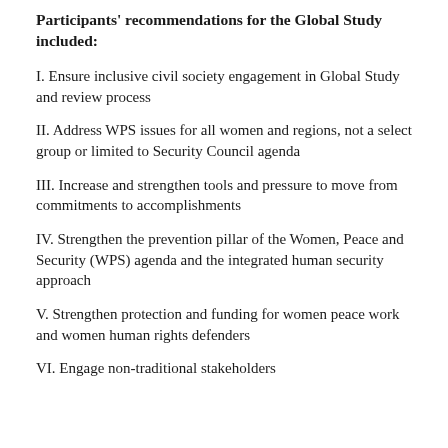Participants' recommendations for the Global Study included:
I. Ensure inclusive civil society engagement in Global Study and review process
II. Address WPS issues for all women and regions, not a select group or limited to Security Council agenda
III. Increase and strengthen tools and pressure to move from commitments to accomplishments
IV. Strengthen the prevention pillar of the Women, Peace and Security (WPS) agenda and the integrated human security approach
V. Strengthen protection and funding for women peace work and women human rights defenders
VI. Engage non-traditional stakeholders